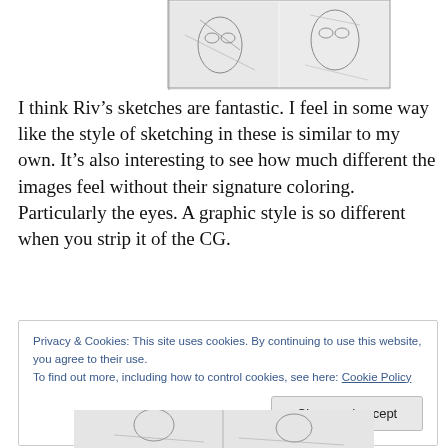[Figure (illustration): Open manga/art book showing pencil sketches of anime-style characters with large eyes and detailed hair, spread across two pages, photographed from above on a white background.]
I think Riv’s sketches are fantastic. I feel in some way like the style of sketching in these is similar to my own. It’s also interesting to see how much different the images feel without their signature coloring. Particularly the eyes. A graphic style is so different when you strip it of the CG.
Privacy & Cookies: This site uses cookies. By continuing to use this website, you agree to their use.
To find out more, including how to control cookies, see here: Cookie Policy
Close and accept
[Figure (illustration): Partial view of another open manga/art book page, partially cut off at the bottom of the image, showing pencil sketch artwork of anime characters.]